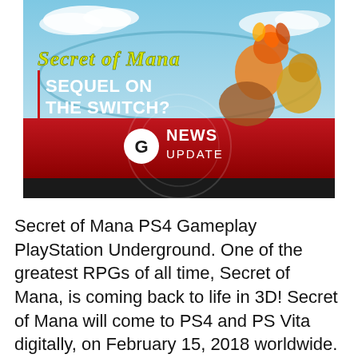[Figure (screenshot): Thumbnail image showing Secret of Mana game art with text 'Secret of Mana SEQUEL ON THE SWITCH?' and a 'G NEWS UPDATE' logo overlay on a red banner. Background shows fantasy game characters and blue sky.]
Secret of Mana PS4 Gameplay PlayStation Underground. One of the greatest RPGs of all time, Secret of Mana, is coming back to life in 3D! Secret of Mana will come to PS4 and PS Vita digitally, on February 15, 2018 worldwide. The memorable adventure of Randi, Primm and Popoi is about